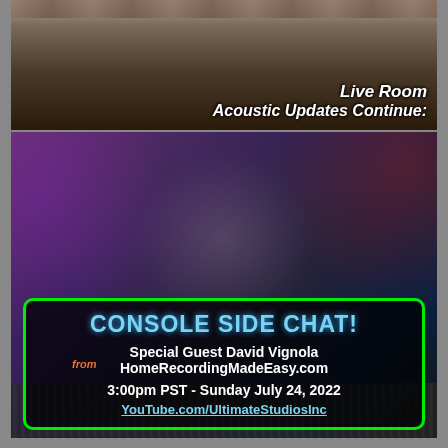[Figure (photo): Top banner: partial view of a recording studio live room with wooden ceiling beams and equipment in background, with overlaid text 'Live Room Acoustic Updates Continue:']
[Figure (photo): Main image: A man in a black 'Home Recording Made Easy .com' t-shirt sitting in front of a recording studio console with purple and red ambient lighting. A green-bordered box overlay contains event information: 'CONSOLE SIDE CHAT! Special Guest David Vignola from HomeRecordingMadeEasy.com 3:00pm PST - Sunday July 24, 2022 YouTube.com/UltimateStudiosInc']